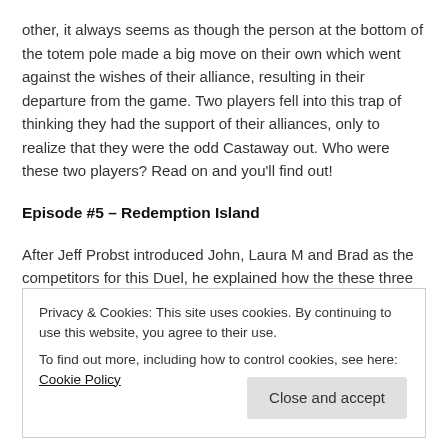other, it always seems as though the person at the bottom of the totem pole made a big move on their own which went against the wishes of their alliance, resulting in their departure from the game. Two players fell into this trap of thinking they had the support of their alliances, only to realize that they were the odd Castaway out. Who were these two players? Read on and you'll find out!
Episode #5 – Redemption Island
After Jeff Probst introduced John, Laura M and Brad as the competitors for this Duel, he explained how the these three players had to race across a balance beam while untying 4 bags and collecting numbered tiles. With ea h bag, they then had to put the
Privacy & Cookies: This site uses cookies. By continuing to use this website, you agree to their use.
To find out more, including how to control cookies, see here: Cookie Policy
Close and accept